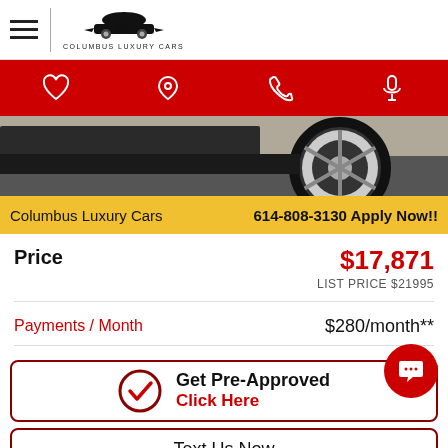[Figure (logo): Columbus Luxury Cars logo with car silhouette and brand name]
[Figure (screenshot): Red navigation bar with heart, location pin, phone, and microphone icons]
[Figure (photo): Car wheel/tire close-up photo strip]
Columbus Luxury Cars   614-808-3130 Apply Now!!
Price   $17,871
LIST PRICE $21995
Payments / Month   $280/month**
Get Pre-Approved Click Here
Text Us Now